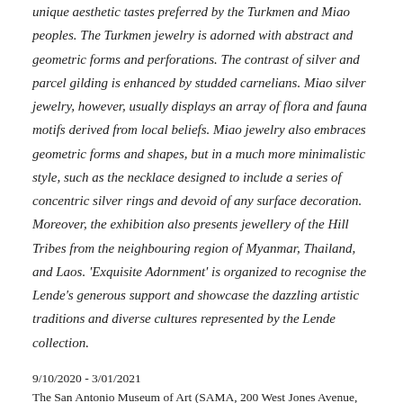unique aesthetic tastes preferred by the Turkmen and Miao peoples. The Turkmen jewelry is adorned with abstract and geometric forms and perforations. The contrast of silver and parcel gilding is enhanced by studded carnelians. Miao silver jewelry, however, usually displays an array of flora and fauna motifs derived from local beliefs. Miao jewelry also embraces geometric forms and shapes, but in a much more minimalistic style, such as the necklace designed to include a series of concentric silver rings and devoid of any surface decoration. Moreover, the exhibition also presents jewellery of the Hill Tribes from the neighbouring region of Myanmar, Thailand, and Laos. 'Exquisite Adornment' is organized to recognise the Lende's generous support and showcase the dazzling artistic traditions and diverse cultures represented by the Lende collection.
9/10/2020 - 3/01/2021
The San Antonio Museum of Art (SAMA, 200 West Jones Avenue, San Antonio, TX 78215, USA
From Courtship to Kinship: Wedding Celebrations of Laos' Ethnic Groups
This exhibition provides a rare insight into the distinct wedding traditions of the Lao people and several of the country's ethnic minorities such as the